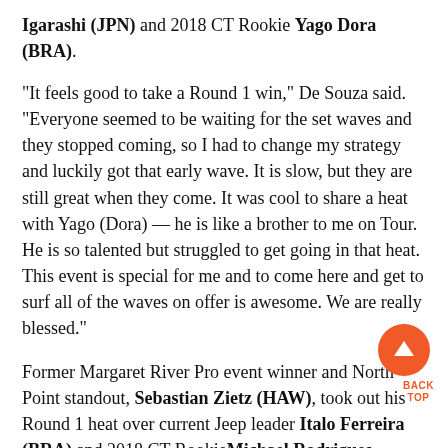Igarashi (JPN) and 2018 CT Rookie Yago Dora (BRA).
“It feels good to take a Round 1 win,” De Souza said. “Everyone seemed to be waiting for the set waves and they stopped coming, so I had to change my strategy and luckily got that early wave. It is slow, but they are still great when they come. It was cool to share a heat with Yago (Dora) — he is like a brother to me on Tour. He is so talented but struggled to get going in that heat. This event is special for me and to come here and get to surf all of the waves on offer is awesome. We are really blessed.”
Former Margaret River Pro event winner and North Point standout, Sebastian Zietz (HAW), took out his Round 1 heat over current Jeep leader Italo Ferreira (BRA) and 2018 CT RookieMichael Rodrigues (BRA). It was clear Zietz was hunting for a Perfect 10 to replicate his performance at this location last year, but the limited options on offer forced Zietz to take the heat with a combination of rail turns and shorter barrels.